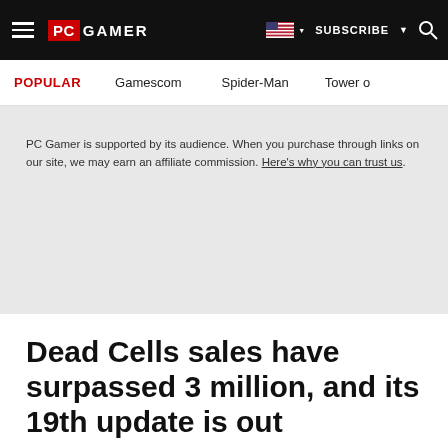PC GAMER | SUBSCRIBE | Search
POPULAR  Gamescom  Spider-Man  Tower o
PC Gamer is supported by its audience. When you purchase through links on our site, we may earn an affiliate commission. Here's why you can trust us.
Dead Cells sales have surpassed 3 million, and its 19th update is out